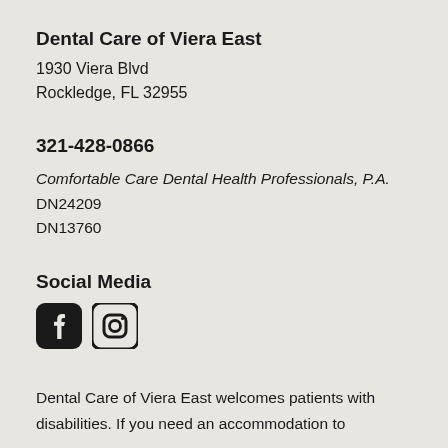Dental Care of Viera East
1930 Viera Blvd
Rockledge, FL 32955
321-428-0866
Comfortable Care Dental Health Professionals, P.A.
DN24209
DN13760
Social Media
[Figure (logo): Facebook and Instagram social media icons]
Dental Care of Viera East welcomes patients with disabilities. If you need an accommodation to